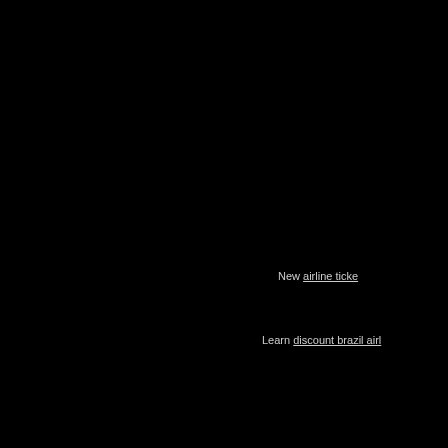New airline ticke
Learn discount brazil airl